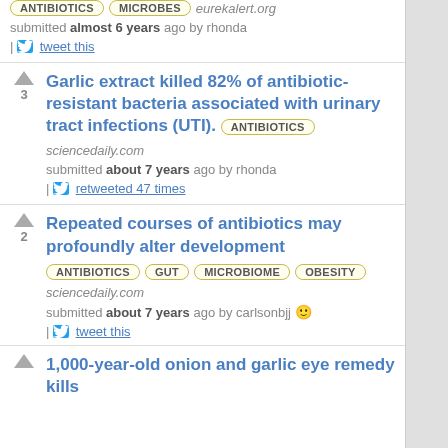Tags: ANTIBIOTICS, MICROBES | eurekalert.org | submitted almost 6 years ago by rhonda | tweet this
Garlic extract killed 82% of antibiotic-resistant bacteria associated with urinary tract infections (UTI). ANTIBIOTICS | sciencedaily.com | submitted about 7 years ago by rhonda | retweeted 47 times | vote: 3 | score: 0
Repeated courses of antibiotics may profoundly alter development | ANTIBIOTICS GUT MICROBIOME OBESITY | sciencedaily.com | submitted about 7 years ago by carlsonbjj | tweet this | vote: 2 | score: 0
1,000-year-old onion and garlic eye remedy kills